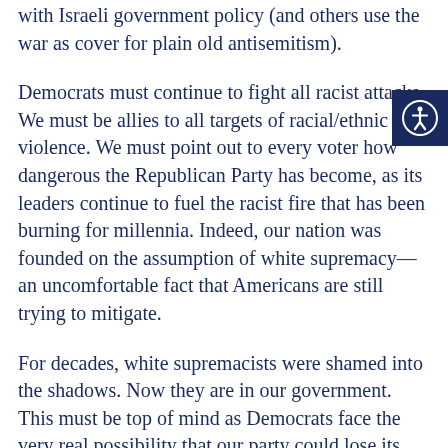with Israeli government policy (and others use the war as cover for plain old antisemitism).
Democrats must continue to fight all racist attacks. We must be allies to all targets of racial/ethnic violence. We must point out to every voter how dangerous the Republican Party has become, as its leaders continue to fuel the racist fire that has been burning for millennia. Indeed, our nation was founded on the assumption of white supremacy—an uncomfortable fact that Americans are still trying to mitigate.
For decades, white supremacists were shamed into the shadows. Now they are in our government. This must be top of mind as Democrats face the very real possibility that our party could lose its congressional majority in 2022.
Bonnie Heidler